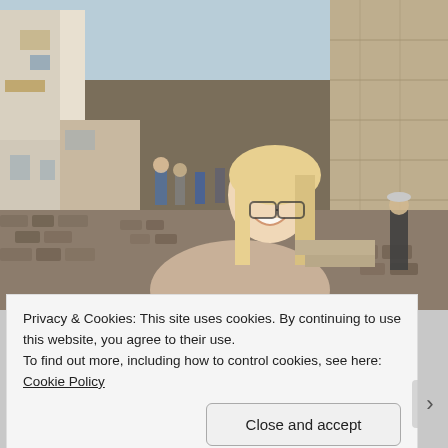[Figure (photo): A smiling blonde woman wearing glasses and a beige knit cardigan takes a selfie on a cobblestone street in what appears to be a historic European or Latin American town. Buildings line the left side, a large stone structure is on the right, and other tourists walk in the background.]
Privacy & Cookies: This site uses cookies. By continuing to use this website, you agree to their use.
To find out more, including how to control cookies, see here: Cookie Policy
Close and accept